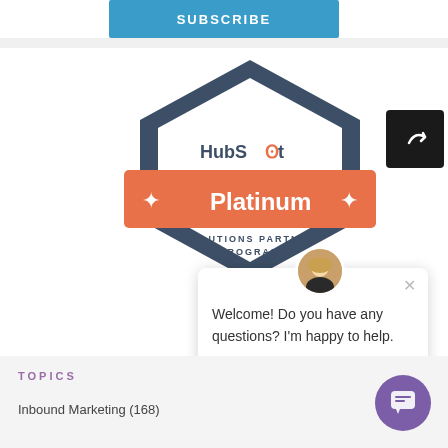SUBSCRIBE
[Figure (logo): HubSpot Platinum Solutions Partner Program badge/hexagon logo with orange Platinum banner and sparkle icons]
[Figure (screenshot): Chat popup widget showing a blonde woman avatar, a close X button, and the message 'Welcome! Do you have any questions? I'm happy to help.']
TOPICS
Inbound Marketing (168)